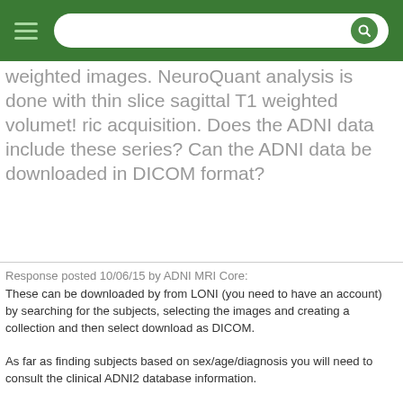weighted images. NeuroQuant analysis is done with thin slice sagittal T1 weighted volumet! ric acquisition. Does the ADNI data include these series? Can the ADNI data be downloaded in DICOM format?
Response posted 10/06/15 by ADNI MRI Core:
These can be downloaded by from LONI (you need to have an account) by searching for the subjects, selecting the images and creating a collection and then select download as DICOM.

As far as finding subjects based on sex/age/diagnosis you will need to consult the clinical ADNI2 database information.

Thank you